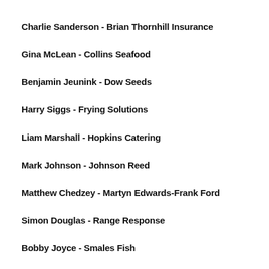Charlie Sanderson - Brian Thornhill Insurance
Gina McLean - Collins Seafood
Benjamin Jeunink - Dow Seeds
Harry Siggs - Frying Solutions
Liam Marshall - Hopkins Catering
Mark Johnson - Johnson Reed
Matthew Chedzey - Martyn Edwards-Frank Ford
Simon Douglas - Range Response
Bobby Joyce - Smales Fish
Lewis Smales - Smales Fish